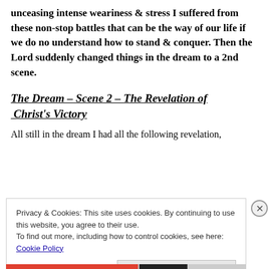unceasing intense weariness & stress I suffered from these non-stop battles that can be the way of our life if we do no understand how to stand & conquer. Then the Lord suddenly changed things in the dream to a 2nd scene.
The Dream – Scene 2 – The Revelation of Christ's Victory
All still in the dream I had all the following revelation,
Privacy & Cookies: This site uses cookies. By continuing to use this website, you agree to their use.
To find out more, including how to control cookies, see here: Cookie Policy